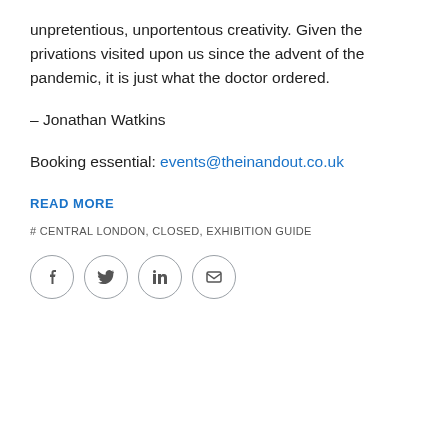unpretentious, unportentous creativity. Given the privations visited upon us since the advent of the pandemic, it is just what the doctor ordered.
– Jonathan Watkins
Booking essential: events@theinandout.co.uk
READ MORE
# CENTRAL LONDON, CLOSED, EXHIBITION GUIDE
[Figure (infographic): Four circular social sharing icons for Facebook, Twitter, LinkedIn, and Email, each in a circle outline.]